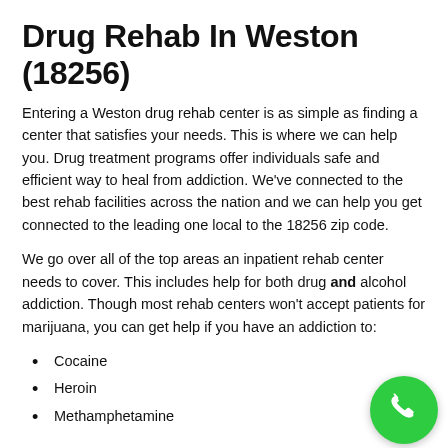Drug Rehab In Weston (18256)
Entering a Weston drug rehab center is as simple as finding a center that satisfies your needs. This is where we can help you. Drug treatment programs offer individuals safe and efficient way to heal from addiction. We've connected to the best rehab facilities across the nation and we can help you get connected to the leading one local to the 18256 zip code.
We go over all of the top areas an inpatient rehab center needs to cover. This includes help for both drug and alcohol addiction. Though most rehab centers won't accept patients for marijuana, you can get help if you have an addiction to:
Cocaine
Heroin
Methamphetamine